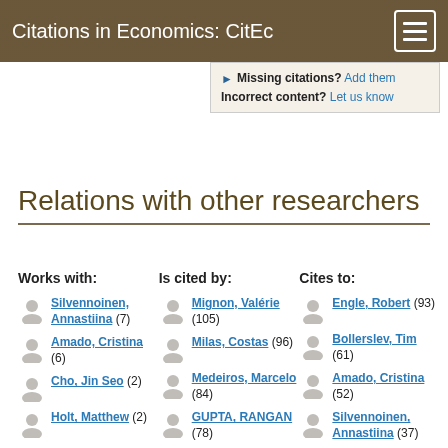Citations in Economics: CitEc
Missing citations? Add them
Incorrect content? Let us know
Relations with other researchers
Works with:
Silvennoinen, Annastiina (7)
Amado, Cristina (6)
Cho, Jin Seo (2)
Holt, Matthew (2)
Is cited by:
Mignon, Valérie (105)
Milas, Costas (96)
Medeiros, Marcelo (84)
GUPTA, RANGAN (78)
Cites to:
Engle, Robert (93)
Bollerslev, Tim (61)
Amado, Cristina (52)
Silvennoinen, Annastiina (37)